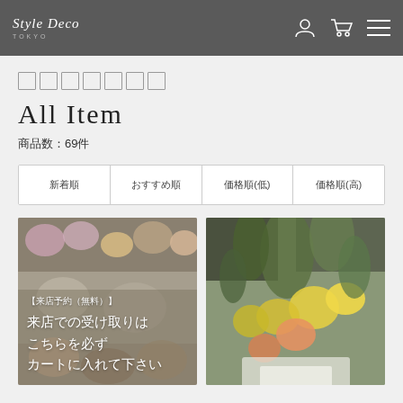Style Deco TOKYO
All Item
商品数：69件
新着順
おすすめ順
価格順(低)
価格順(高)
[Figure (photo): Flower shop product listing page with two product images. Left image shows a floral arrangement with text overlay reading 【来店予約（無料）】 来店での受け取りはこちらを必ずカートに入れて下さい. Right image shows a bouquet of yellow and orange flowers.]